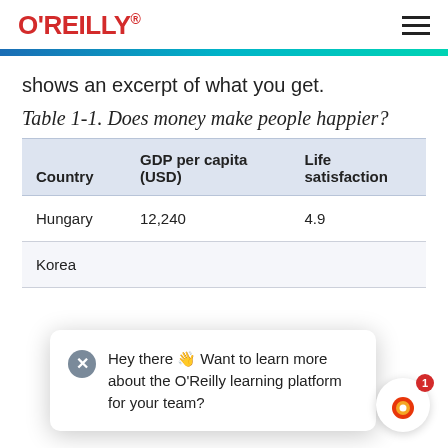O'REILLY
shows an excerpt of what you get.
Table 1-1. Does money make people happier?
| Country | GDP per capita (USD) | Life satisfaction |
| --- | --- | --- |
| Hungary | 12,240 | 4.9 |
| Korea |  |  |
Hey there 👋 Want to learn more about the O'Reilly learning platform for your team?